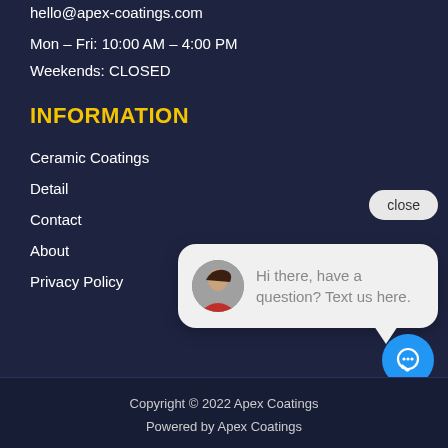hello@apex-coatings.com
Mon – Fri: 10:00 AM – 4:00 PM
Weekends: CLOSED
INFORMATION
Ceramic Coatings
Detail
Contact
About
Privacy Policy
[Figure (screenshot): Chat popup widget with avatar of a woman and text 'Hi there, have a question? Text us here.' with a close button and blue chat icon button]
Copyright © 2022 Apex Coatings
Powered by Apex Coatings